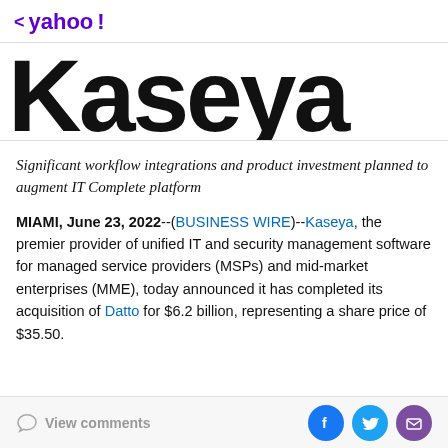< yahoo!
[Figure (logo): Kaseya company logo in large bold black text]
Significant workflow integrations and product investment planned to augment IT Complete platform
MIAMI, June 23, 2022--(BUSINESS WIRE)--Kaseya, the premier provider of unified IT and security management software for managed service providers (MSPs) and mid-market enterprises (MME), today announced it has completed its acquisition of Datto for $6.2 billion, representing a share price of $35.50.
View comments